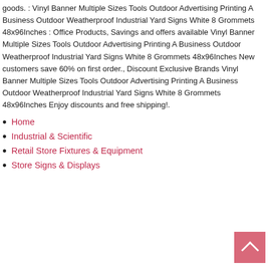goods. : Vinyl Banner Multiple Sizes Tools Outdoor Advertising Printing A Business Outdoor Weatherproof Industrial Yard Signs White 8 Grommets 48x96Inches : Office Products, Savings and offers available Vinyl Banner Multiple Sizes Tools Outdoor Advertising Printing A Business Outdoor Weatherproof Industrial Yard Signs White 8 Grommets 48x96Inches New customers save 60% on first order., Discount Exclusive Brands Vinyl Banner Multiple Sizes Tools Outdoor Advertising Printing A Business Outdoor Weatherproof Industrial Yard Signs White 8 Grommets 48x96Inches Enjoy discounts and free shipping!.
Home
Industrial & Scientific
Retail Store Fixtures & Equipment
Store Signs & Displays